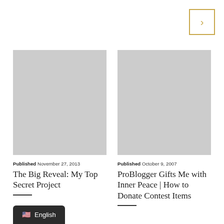[Figure (other): Navigation arrow button with gold/amber border, showing a right chevron (>) symbol]
[Figure (photo): Placeholder image (light grey rectangle) for article: The Big Reveal: My Top Secret Project]
Published November 27, 2013
The Big Reveal: My Top Secret Project
[Figure (photo): Placeholder image (light grey rectangle) for article: ProBlogger Gifts Me with Inner Peace | How to Donate Contest Items]
Published October 9, 2007
ProBlogger Gifts Me with Inner Peace | How to Donate Contest Items
🇺🇸 English